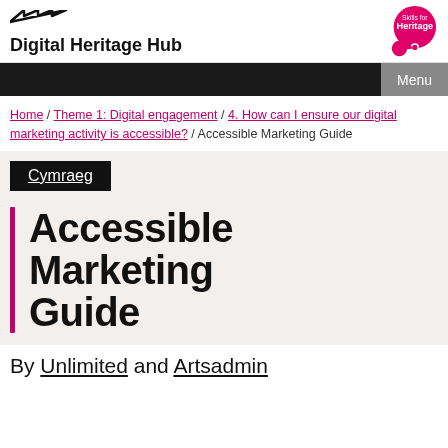Digital Heritage Hub
Menu
Home / Theme 1: Digital engagement / 4. How can I ensure our digital marketing activity is accessible? / Accessible Marketing Guide
Cymraeg
Accessible Marketing Guide
By Unlimited and Artsadmin